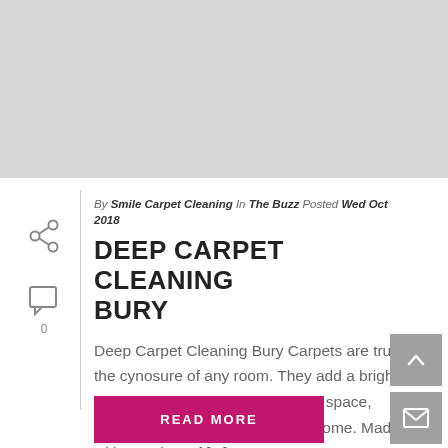[Figure (photo): Gray placeholder image at the top of the page]
By Smile Carpet Cleaning In The Buzz Posted Wed Oct 2018
DEEP CARPET CLEANING BURY
Deep Carpet Cleaning Bury Carpets are truly the cynosure of any room. They add a bright pop of colour to an otherwise dull space, making it a must have for every home. Made with a variety of [...]
READ MORE